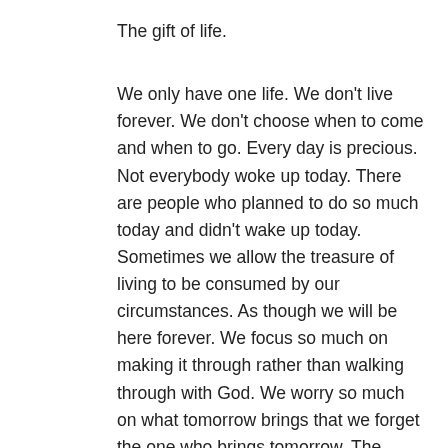The gift of life.
We only have one life. We don't live forever. We don't choose when to come and when to go. Every day is precious. Not everybody woke up today. There are people who planned to do so much today and didn't wake up today. Sometimes we allow the treasure of living to be consumed by our circumstances. As though we will be here forever. We focus so much on making it through rather than walking through with God. We worry so much on what tomorrow brings that we forget the one who brings tomorrow. The future is in almighty God's hand. He makes the new day, He gives the breath of life and He takes it away. We allow our minds to ponder on how things are gonna work, rather than putting our minds on the one who makes all things work. We focus on fears that will never happen rather than focusing on the almighty father who everything is